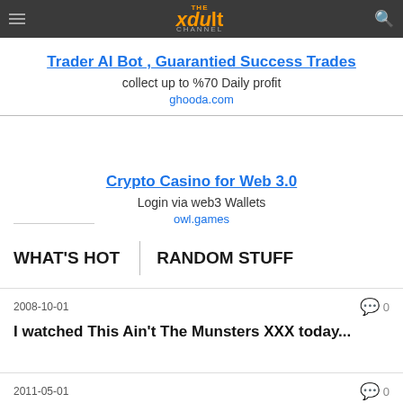THE xdult CHANNEL
Trader AI Bot , Guarantied Success Trades
collect up to %70 Daily profit
ghooda.com
Crypto Casino for Web 3.0
Login via web3 Wallets
owl.games
WHAT'S HOT   RANDOM STUFF
2008-10-01
0
I watched This Ain't The Munsters XXX today...
2011-05-01
0